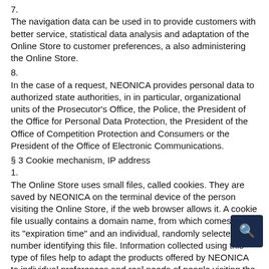7.
The navigation data can be used in to provide customers with better service, statistical data analysis and adaptation of the Online Store to customer preferences, a also administering the Online Store.
8.
In the case of a request, NEONICA provides personal data to authorized state authorities, in in particular, organizational units of the Prosecutor's Office, the Police, the President of the Office for Personal Data Protection, the President of the Office of Competition Protection and Consumers or the President of the Office of Electronic Communications.
§ 3 Cookie mechanism, IP address
1.
The Online Store uses small files, called cookies. They are saved by NEONICA on the terminal device of the person visiting the Online Store, if the web browser allows it. A cookie file usually contains a domain name, from which comes from, its "expiration time" and an individual, randomly selected number identifying this file. Information collected using this type of files help to adapt the products offered by NEONICA to individual preferences and real needs of people visiting the Online Store. They also provide opportunity to develop general statistics of visits of the presented products in Online Store.
2.
NEONICA...